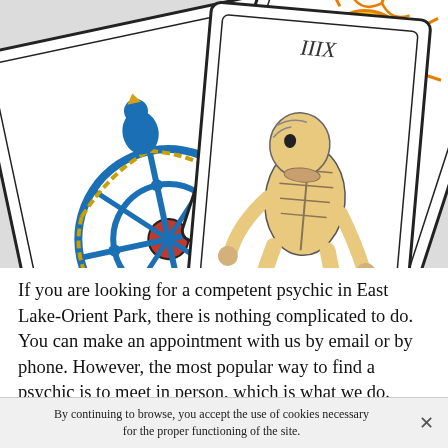[Figure (photo): Three tarot cards spread on a white/light grey background: left card shows the Wheel of Fortune with blue wheel mechanism and figures; center card shows a skeletal/hunched figure labeled with Roman numerals; right card shows The Sun with a bright sun face and radiating rays, plus two nude figures with colored teardrops.]
If you are looking for a competent psychic in East Lake-Orient Park, there is nothing complicated to do. You can make an appointment with us by email or by phone. However, the most popular way to find a psychic is to meet in person, which is what we do.
By continuing to browse, you accept the use of cookies necessary for the proper functioning of the site.